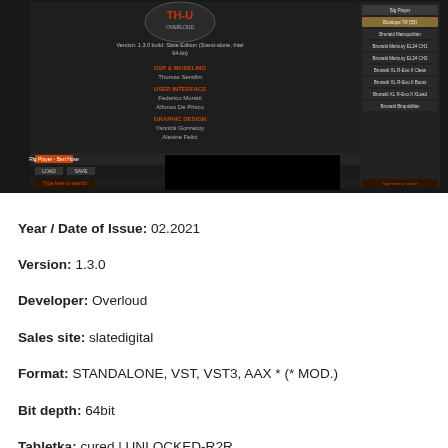[Figure (screenshot): Screenshot of a software plugin interface (Overloud/Slate Digital) showing a dark-themed audio plugin with credits listing DSP & Modeling by Thomas Serafini, User Interface by Federico Moretti and Alfonso De Prisco, Graphic Design by Yannick Gonnetoy and Alexine Felici. The right panel shows a list of presets/models including Big Player, Boutique TR (55), Brunetti Metropolitan, Brunetti Mercury EL34 CH1, Brunetti Mercury EL34 CH2, Brunetti XL R-Evo II Clean, Brunetti XL R-Evo II Boost, Brunetti XL R-Evo II XLead, Brunetti BirquisMax.]
Year / Date of Issue: 02.2021
Version: 1.3.0
Developer: Overloud
Sales site: slatedigital
Format: STANDALONE, VST, VST3, AAX * (* MOD.)
Bit depth: 64bit
Tabletka: cured | UNLOCKED-R2R
System requirements: Core i3 1.4GHz with 4Gb of RAM, 1280×800 video.
Windows Vista, Windows 7, Windows 8 and Windows® 10